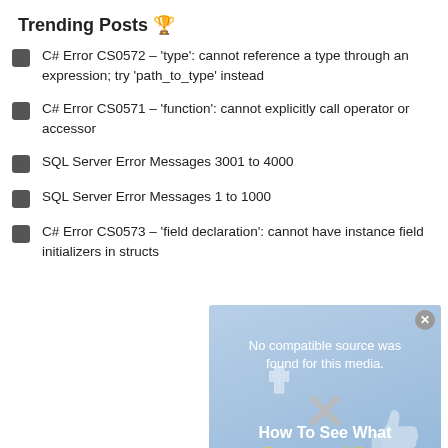Trending Posts 🏆
C# Error CS0572 – 'type': cannot reference a type through an expression; try 'path_to_type' instead
C# Error CS0571 – 'function': cannot explicitly call operator or accessor
SQL Server Error Messages 3001 to 4000
SQL Server Error Messages 1 to 1000
C# Error CS0573 – 'field declaration': cannot have instance field initializers in structs
[Figure (screenshot): Video player overlay with message 'No compatible source was found for this media.' overlaid on a Facebook promotional image showing 'How To See What Someone Likes On Facebook' with a thumbs-up icon and a close button.]